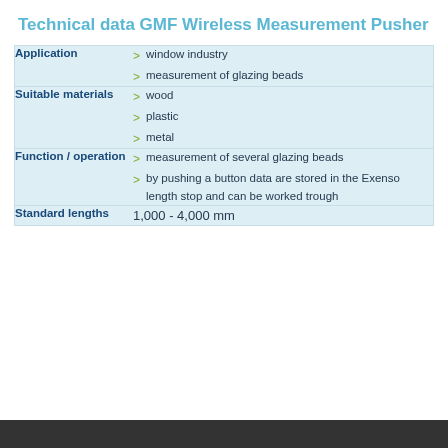Technical data GMF Wireless Measurement Pusher
|  |  |
| --- | --- |
| Application | window industry
measurement of glazing beads |
| Suitable materials | wood
plastic
metal |
| Function / operation | measurement of several glazing beads
by pushing a button data are stored in the Exenso length stop and can be worked trough |
| Standard lengths | 1,000 - 4,000 mm |